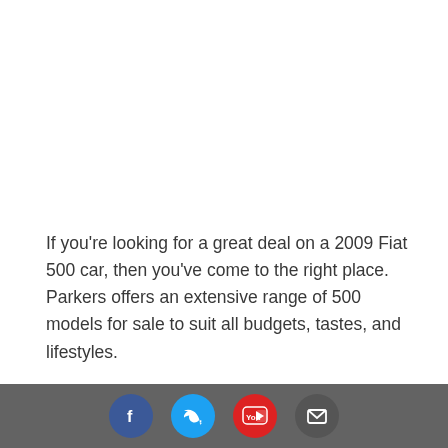If you're looking for a great deal on a 2009 Fiat 500 car, then you've come to the right place. Parkers offers an extensive range of 500 models for sale to suit all budgets, tastes, and lifestyles.
[Figure (other): Footer bar with social media icons: Facebook (blue circle), Twitter (cyan circle), YouTube (red circle), Email/envelope (dark grey circle)]